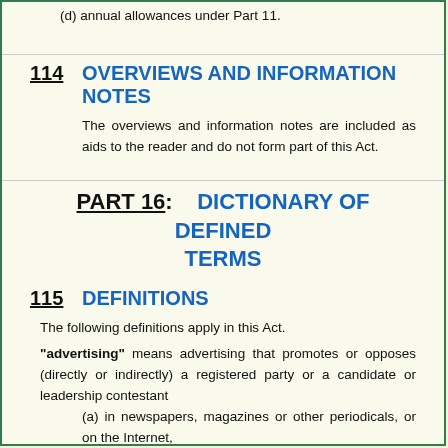(d) annual allowances under Part 11.
114   OVERVIEWS AND INFORMATION NOTES
The overviews and information notes are included as aids to the reader and do not form part of this Act.
PART 16:   DICTIONARY OF DEFINED TERMS
115   DEFINITIONS
The following definitions apply in this Act.
"advertising" means advertising that promotes or opposes (directly or indirectly) a registered party or a candidate or leadership contestant
(a) in newspapers, magazines or other periodicals, or on the Internet,